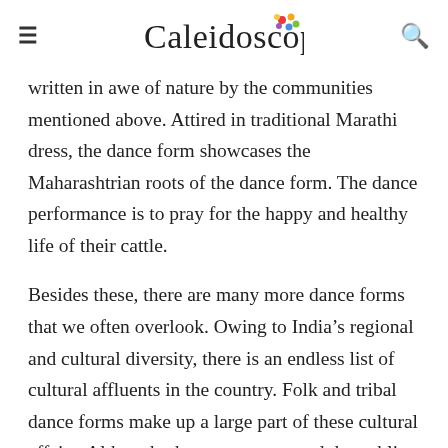Caleidoscope
written in awe of nature by the communities mentioned above. Attired in traditional Marathi dress, the dance form showcases the Maharashtrian roots of the dance form. The dance performance is to pray for the happy and healthy life of their cattle.
Besides these, there are many more dance forms that we often overlook. Owing to India’s regional and cultural diversity, there is an endless list of cultural affluents in the country. Folk and tribal dance forms make up a large part of these cultural affairs. Although, the government and the public are constantly trying to revive the near-extinct dance forms of respective cultures. Youth has a